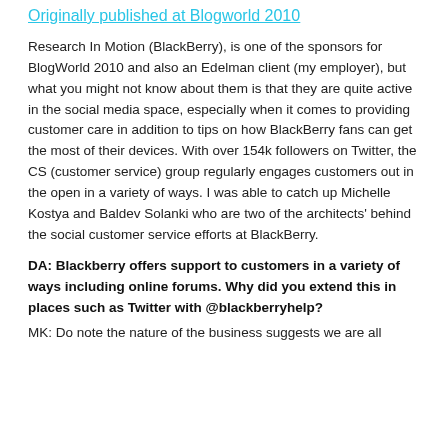Originally published at Blogworld 2010
Research In Motion (BlackBerry), is one of the sponsors for BlogWorld 2010 and also an Edelman client (my employer), but what you might not know about them is that they are quite active in the social media space, especially when it comes to providing customer care in addition to tips on how BlackBerry fans can get the most of their devices. With over 154k followers on Twitter, the CS (customer service) group regularly engages customers out in the open in a variety of ways. I was able to catch up Michelle Kostya and Baldev Solanki who are two of the architects' behind the social customer service efforts at BlackBerry.
DA: Blackberry offers support to customers in a variety of ways including online forums. Why did you extend this in places such as Twitter with @blackberryhelp?
MK: Do note the nature of the business suggests we are all...